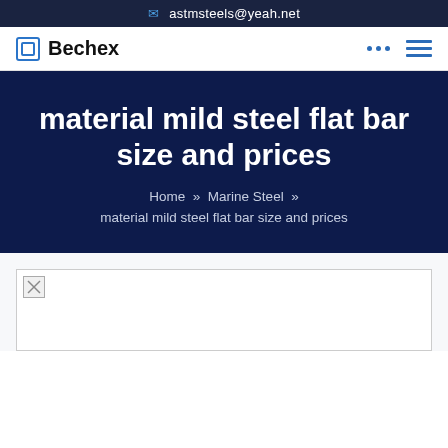astmsteels@yeah.net
Bechex
material mild steel flat bar size and prices
Home » Marine Steel » material mild steel flat bar size and prices
[Figure (photo): Broken/unloaded image placeholder for mild steel flat bar product image]